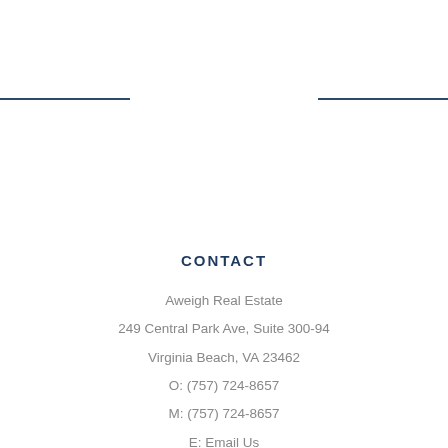CONTACT
Aweigh Real Estate
249 Central Park Ave, Suite 300-94
Virginia Beach, VA 23462
O: (757) 724-8657
M: (757) 724-8657
E: Email Us